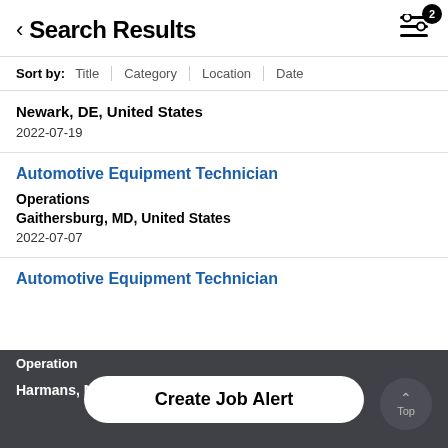Search Results
Sort by: Title | Category | Location | Date
Newark, DE, United States
2022-07-19
Automotive Equipment Technician
Operations
Gaithersburg, MD, United States
2022-07-07
Automotive Equipment Technician
Operations
Harmans, MD, United States
Create Job Alert